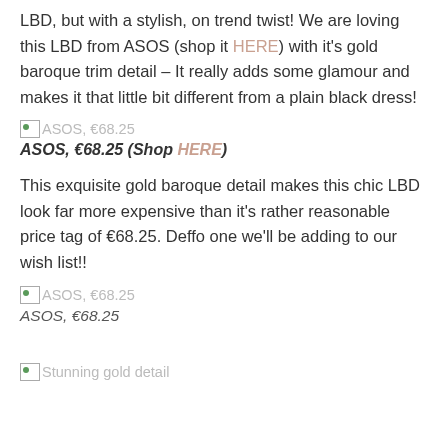LBD, but with a stylish, on trend twist! We are loving this LBD from ASOS (shop it HERE) with it's gold baroque trim detail – It really adds some glamour and makes it that little bit different from a plain black dress!
[Figure (other): Broken image placeholder for ASOS, €68.25]
ASOS, €68.25 (Shop HERE)
This exquisite gold baroque detail makes this chic LBD look far more expensive than it's rather reasonable price tag of €68.25. Deffo one we'll be adding to our wish list!!
[Figure (other): Broken image placeholder for ASOS, €68.25]
ASOS, €68.25
[Figure (other): Broken image placeholder for Stunning gold detail]